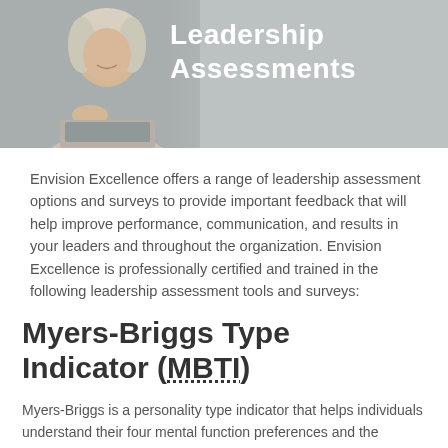[Figure (photo): Header banner with a woman smiling at a desk, grey/silver background with 'Leadership Assessments' title text overlaid in white]
Envision Excellence offers a range of leadership assessment options and surveys to provide important feedback that will help improve performance, communication, and results in your leaders and throughout the organization. Envision Excellence is professionally certified and trained in the following leadership assessment tools and surveys:
Myers-Briggs Type Indicator (MBTI)
Myers-Briggs is a personality type indicator that helps individuals understand their four mental function preferences and the